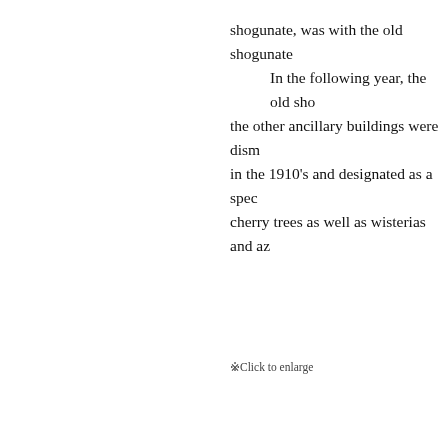shogunate, was with the old shogunate. In the following year, the old sho the other ancillary buildings were disma in the 1910's and designated as a spec cherry trees as well as wisterias and az
※Click to enlarge